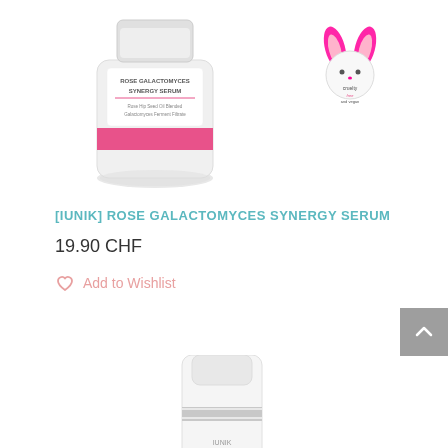[Figure (photo): IUNIK Rose Galactomyces Synergy Serum product bottle - white cylindrical bottle with pink stripe and label]
[Figure (logo): Cruelty Free and Vegan bunny logo - pink bunny ears with text 'cruelty free and vegan']
[IUNIK] ROSE GALACTOMYCES SYNERGY SERUM
19.90 CHF
Add to Wishlist
[Figure (photo): Second IUNIK product bottle - white/clear cylindrical bottle with silver band, partially visible at bottom of page]